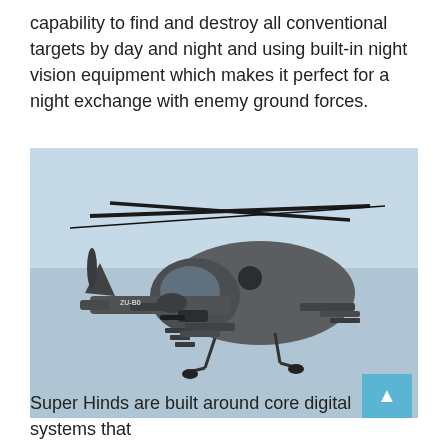capability to find and destroy all conventional targets by day and night and using built-in night vision equipment which makes it perfect for a night exchange with enemy ground forces.
[Figure (photo): Military attack helicopter (Mi-24 Super Hind variant, registration ZU-B0...) in flight against a light blue sky, viewed from the side-front, armed with rockets and weapons systems, rotor blades spinning.]
Super Hinds are built around core digital systems that